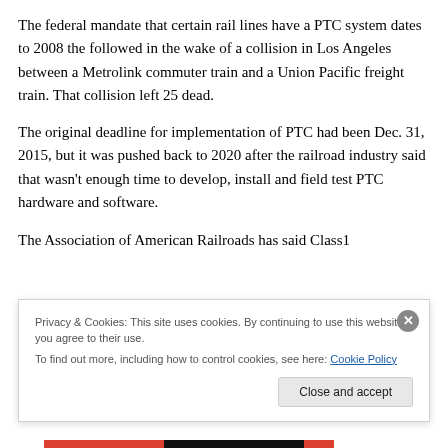The federal mandate that certain rail lines have a PTC system dates to 2008 the followed in the wake of a collision in Los Angeles between a Metrolink commuter train and a Union Pacific freight train. That collision left 25 dead.
The original deadline for implementation of PTC had been Dec. 31, 2015, but it was pushed back to 2020 after the railroad industry said that wasn't enough time to develop, install and field test PTC hardware and software.
The Association of American Railroads has said Class1
Privacy & Cookies: This site uses cookies. By continuing to use this website, you agree to their use.
To find out more, including how to control cookies, see here: Cookie Policy